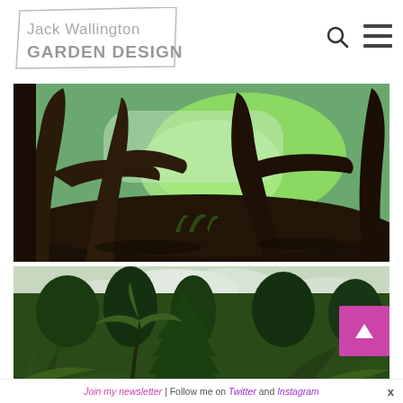Jack Wallington GARDEN DESIGN
[Figure (photo): Forest scene with twisted dark tree trunks on a mulched hillside, with bright green illuminated background visible through the trees]
[Figure (photo): Lush garden landscape with tree ferns, conifers, and dense green foliage under a cloudy sky]
Join my newsletter | Follow me on Twitter and Instagram